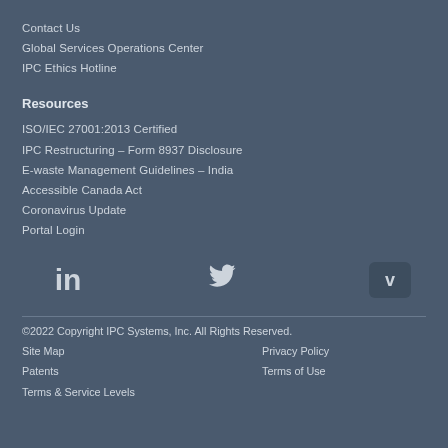Contact Us
Global Services Operations Center
IPC Ethics Hotline
Resources
ISO/IEC 27001:2013 Certified
IPC Restructuring – Form 8937 Disclosure
E-waste Management Guidelines – India
Accessible Canada Act
Coronavirus Update
Portal Login
[Figure (infographic): Social media icons: LinkedIn, Twitter, Vimeo]
©2022 Copyright IPC Systems, Inc. All Rights Reserved.
Site Map   Privacy Policy
Patents   Terms of Use
Terms & Service Levels